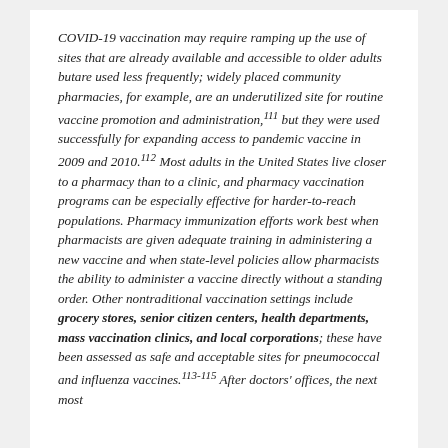COVID-19 vaccination may require ramping up the use of sites that are already available and accessible to older adults butare used less frequently; widely placed community pharmacies, for example, are an underutilized site for routine vaccine promotion and administration,111 but they were used successfully for expanding access to pandemic vaccine in 2009 and 2010.112 Most adults in the United States live closer to a pharmacy than to a clinic, and pharmacy vaccination programs can be especially effective for harder-to-reach populations. Pharmacy immunization efforts work best when pharmacists are given adequate training in administering a new vaccine and when state-level policies allow pharmacists the ability to administer a vaccine directly without a standing order. Other nontraditional vaccination settings include grocery stores, senior citizen centers, health departments, mass vaccination clinics, and local corporations; these have been assessed as safe and acceptable sites for pneumococcal and influenza vaccines.113-115 After doctors' offices, the next most